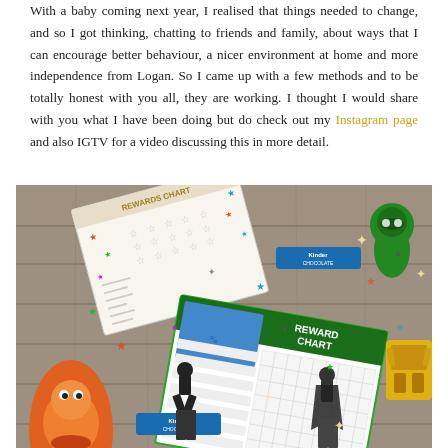With a baby coming next year, I realised that things needed to change, and so I got thinking, chatting to friends and family, about ways that I can encourage better behaviour, a nicer environment at home and more independence from Logan. So I came up with a few methods and to be totally honest with you all, they are working. I thought I would share with you what I have been doing but do check out my Instagram page and also IGTV for a video discussing this in more detail.
[Figure (photo): Photo of reward charts, star stickers, Kinder chocolate bars, and children's toy figures (Pokemon, PJ Masks character, Transformer) arranged on a rustic wooden background with fairy lights.]